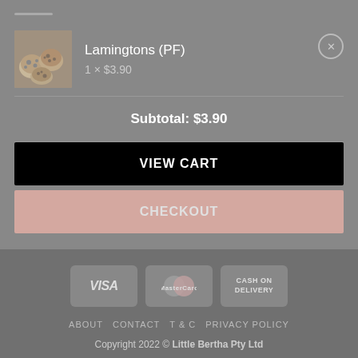[Figure (screenshot): Shopping cart item thumbnail showing lamington balls]
Lamingtons (PF)
1 × $3.90
Subtotal: $3.90
VIEW CART
CHECKOUT
[Figure (logo): Payment method badges: VISA, MasterCard, CASH ON DELIVERY]
ABOUT   CONTACT   T & C   PRIVACY POLICY
Copyright 2022 © Little Bertha Pty Ltd